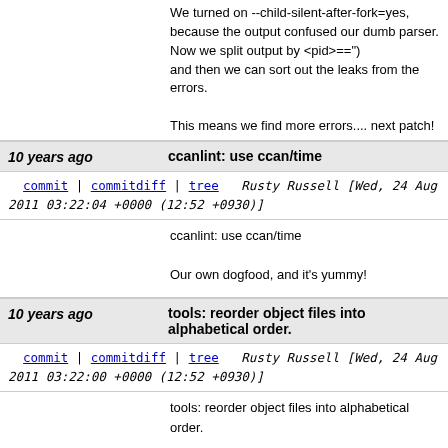We turned on --child-silent-after-fork=yes, because the output confused our dumb parser.  Now we split output by <pid>==") and then we can sort out the leaks from the errors.

This means we find more errors.... next patch!
10 years ago   ccanlint: use ccan/time
commit | commitdiff | tree   Rusty Russell [Wed, 24 Aug 2011 03:22:04 +0000 (12:52 +0930)]
ccanlint: use ccan/time

Our own dogfood, and it's yummy!
10 years ago   tools: reorder object files into alphabetical order.
commit | commitdiff | tree   Rusty Russell [Wed, 24 Aug 2011 03:22:00 +0000 (12:52 +0930)]
tools: reorder object files into alphabetical order.

Simplifies future patches.
10 years ago   talloc  link: close memory leak in test.